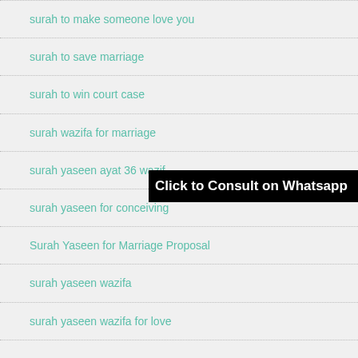surah to make someone love you
surah to save marriage
surah to win court case
surah wazifa for marriage
surah yaseen ayat 36 wazif
surah yaseen for conceiving
Surah Yaseen for Marriage Proposal
surah yaseen wazifa
surah yaseen wazifa for love